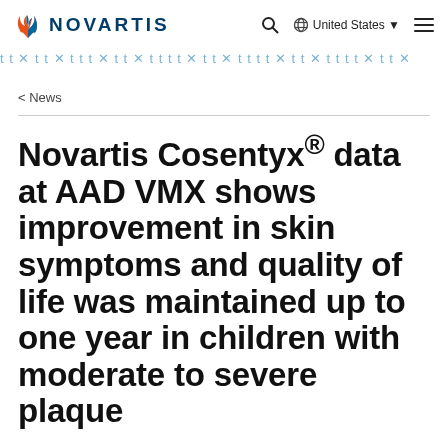[Figure (logo): Novartis logo with flame icon and NOVARTIS text in dark blue]
Search | Globe United States ▼ | Menu
[Figure (illustration): Decorative repeating pattern strip with stylized cross/arrow motif in light blue]
< News
Novartis Cosentyx® data at AAD VMX shows improvement in skin symptoms and quality of life was maintained up to one year in children with moderate to severe plaque